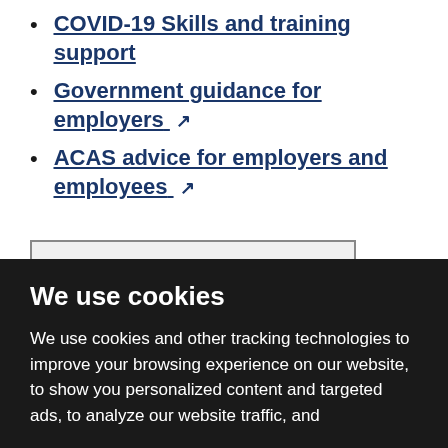COVID-19 Skills and training support
Government guidance for employers
ACAS advice for employers and employees
COMMENT ON THIS PAGE
We use cookies
We use cookies and other tracking technologies to improve your browsing experience on our website, to show you personalized content and targeted ads, to analyze our website traffic, and